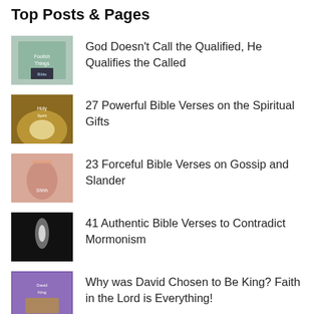Top Posts & Pages
God Doesn't Call the Qualified, He Qualifies the Called
27 Powerful Bible Verses on the Spiritual Gifts
23 Forceful Bible Verses on Gossip and Slander
41 Authentic Bible Verses to Contradict Mormonism
Why was David Chosen to Be King? Faith in the Lord is Everything!
Did Martin Luther Remove Books from the Bible? A Pastor's Answer
21 Wonderful Bible Verses on God's Love - A Warm Hug from God